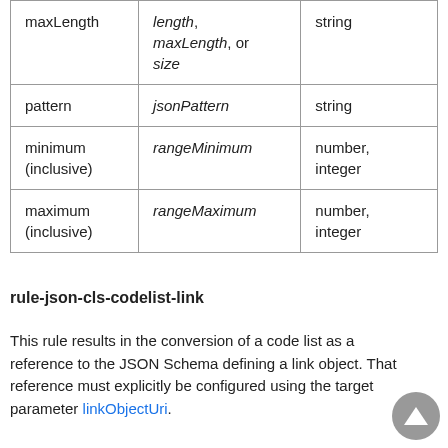| maxLength | length, maxLength, or size | string |
| pattern | jsonPattern | string |
| minimum (inclusive) | rangeMinimum | number, integer |
| maximum (inclusive) | rangeMaximum | number, integer |
rule-json-cls-codelist-link
This rule results in the conversion of a code list as a reference to the JSON Schema defining a link object. That reference must explicitly be configured using the target parameter linkObjectUri.